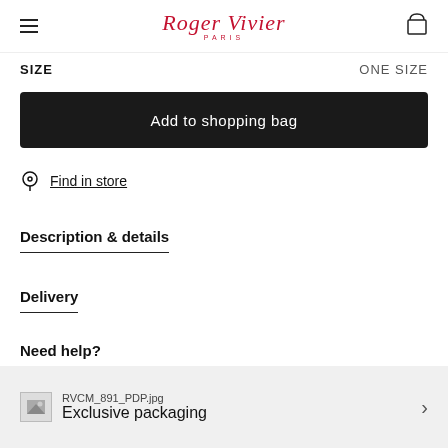Roger Vivier Paris
SIZE   ONE SIZE
Add to shopping bag
Find in store
Description & details
Delivery
Need help?
RVCM_891_PDP.jpg   Exclusive packaging